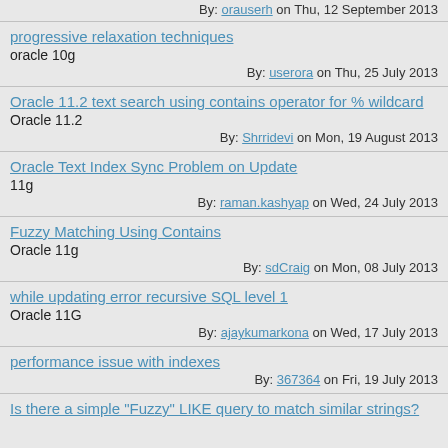By: orauserh on Thu, 12 September 2013
progressive relaxation techniques | oracle 10g | By: userora on Thu, 25 July 2013
Oracle 11.2 text search using contains operator for % wildcard | Oracle 11.2 | By: Shrridevi on Mon, 19 August 2013
Oracle Text Index Sync Problem on Update | 11g | By: raman.kashyap on Wed, 24 July 2013
Fuzzy Matching Using Contains | Oracle 11g | By: sdCraig on Mon, 08 July 2013
while updating error recursive SQL level 1 | Oracle 11G | By: ajaykumarkona on Wed, 17 July 2013
performance issue with indexes | By: 367364 on Fri, 19 July 2013
Is there a simple "Fuzzy" LIKE query to match similar strings?